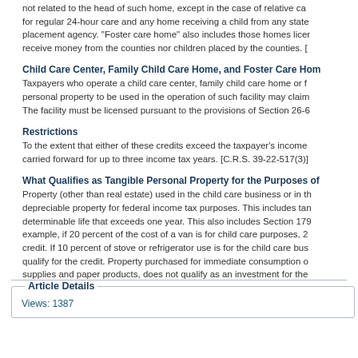not related to the head of such home, except in the case of relative care for regular 24-hour care and any home receiving a child from any state placement agency. "Foster care home" also includes those homes licensed to receive money from the counties nor children placed by the counties. [...
Child Care Center, Family Child Care Home, and Foster Care Home...
Taxpayers who operate a child care center, family child care home or foster care home or personal property to be used in the operation of such facility may claim... The facility must be licensed pursuant to the provisions of Section 26-6...
Restrictions
To the extent that either of these credits exceed the taxpayer's income... carried forward for up to three income tax years. [C.R.S. 39-22-517(3)]
What Qualifies as Tangible Personal Property for the Purposes of...
Property (other than real estate) used in the child care business or in the depreciable property for federal income tax purposes. This includes tangible determinable life that exceeds one year. This also includes Section 179 example, if 20 percent of the cost of a van is for child care purposes, 20 credit. If 10 percent of stove or refrigerator use is for the child care business qualify for the credit. Property purchased for immediate consumption or supplies and paper products, does not qualify as an investment for the...
Article Details
Views: 1387